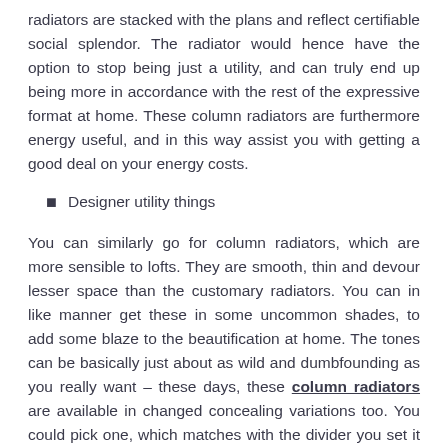radiators are stacked with the plans and reflect certifiable social splendor. The radiator would hence have the option to stop being just a utility, and can truly end up being more in accordance with the rest of the expressive format at home. These column radiators are furthermore energy useful, and in this way assist you with getting a good deal on your energy costs.
Designer utility things
You can similarly go for column radiators, which are more sensible to lofts. They are smooth, thin and devour lesser space than the customary radiators. You can in like manner get these in some uncommon shades, to add some blaze to the beautification at home. The tones can be basically just about as wild and dumbfounding as you really want – these days, these column radiators are available in changed concealing variations too. You could pick one, which matches with the divider you set it confronting. There